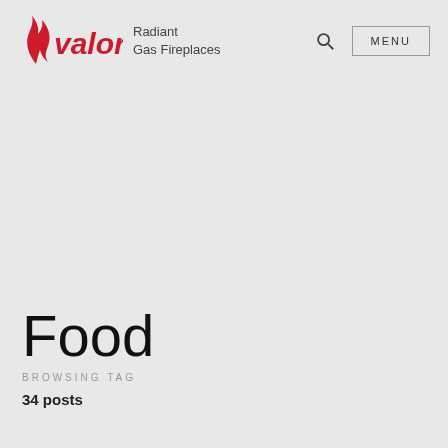Valor Radiant Gas Fireplaces — MENU
Food
BROWSING TAG
34 posts